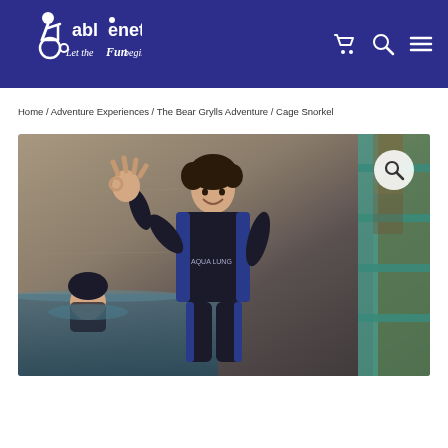[Figure (logo): Ablenet logo with wheelchair icon and text 'ablenet Let the Fun begin...' on dark blue/purple background]
Home / Adventure Experiences / The Bear Grylls Adventure / Cage Snorkel
[Figure (photo): Young person in black and blue wetsuit (Aqua Lung brand) making an OK sign with hand, smiling, standing next to a water tank/cage with teal/blue frame. Background shows concrete walls and another person in the water.]